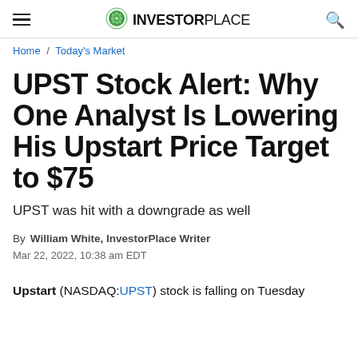INVESTORPLACE
Home / Today's Market
UPST Stock Alert: Why One Analyst Is Lowering His Upstart Price Target to $75
UPST was hit with a downgrade as well
By William White, InvestorPlace Writer  Mar 22, 2022, 10:38 am EDT
Upstart (NASDAQ:UPST) stock is falling on Tuesday